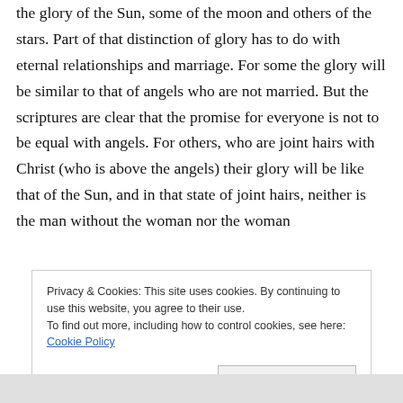the glory of the Sun, some of the moon and others of the stars. Part of that distinction of glory has to do with eternal relationships and marriage. For some the glory will be similar to that of angels who are not married. But the scriptures are clear that the promise for everyone is not to be equal with angels. For others, who are joint hairs with Christ (who is above the angels) their glory will be like that of the Sun, and in that state of joint hairs, neither is the man without the woman nor the woman
Privacy & Cookies: This site uses cookies. By continuing to use this website, you agree to their use.
To find out more, including how to control cookies, see here: Cookie Policy
Close and accept